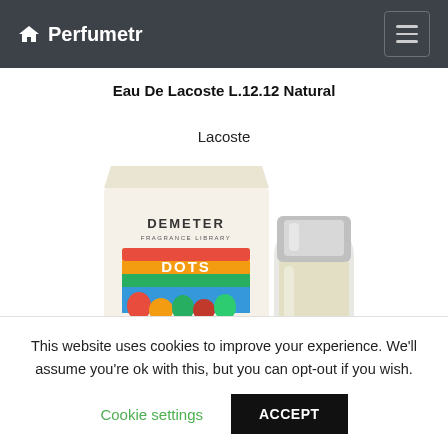Perfumetr
Eau De Lacoste L.12.12 Natural
Lacoste
[Figure (photo): Product photo of a Demeter Fragrance Library perfume bottle and box (Dots edition) with a silver cylindrical cap and pale yellow liquid, alongside the white box featuring the Dots candy branding with colorful gumdrops and text 'Be yourself. Please yourself. Reveal everything. Reveal']
This website uses cookies to improve your experience. We'll assume you're ok with this, but you can opt-out if you wish.
Cookie settings
ACCEPT